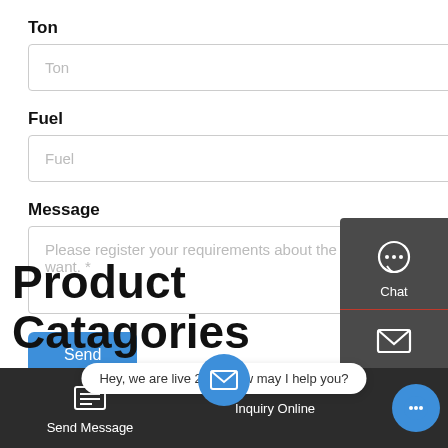Ton
[Figure (screenshot): Input field with placeholder text 'Ton']
Fuel
[Figure (screenshot): Input field with placeholder text 'Fuel']
Message
[Figure (screenshot): Textarea with placeholder: Please register your requirements about the boiler you want. *]
[Figure (screenshot): Right sidebar with Chat, Email, Contact options and TOP button]
Send
Product Catagories
[Figure (screenshot): Bottom bar with Send Message, chat bubble 'Hey, we are live 24/7. How may I help you?', mail icon, Inquiry Online, and chat button]